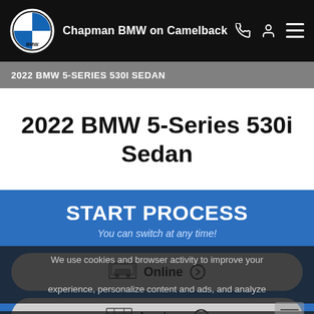Chapman BMW on Camelback
2022 BMW 5-SERIES 530I SEDAN
2022 BMW 5-Series 530i Sedan
START PROCESS
You can switch at any time!
Online
In-store
We use cookies and browser activity to improve your experience, personalize content and ads, and analyze how our sites are used. For more information, view our